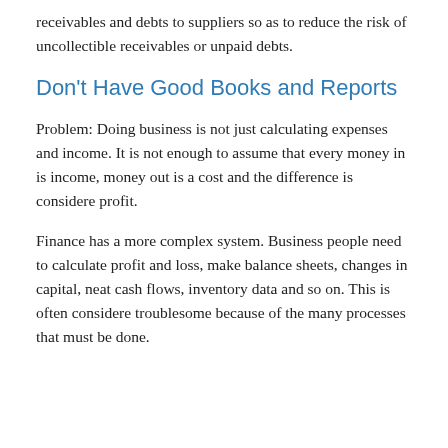receivables and debts to suppliers so as to reduce the risk of uncollectible receivables or unpaid debts.
Don't Have Good Books and Reports
Problem: Doing business is not just calculating expenses and income. It is not enough to assume that every money in is income, money out is a cost and the difference is considere profit.
Finance has a more complex system. Business people need to calculate profit and loss, make balance sheets, changes in capital, neat cash flows, inventory data and so on. This is often considere troublesome because of the many processes that must be done.